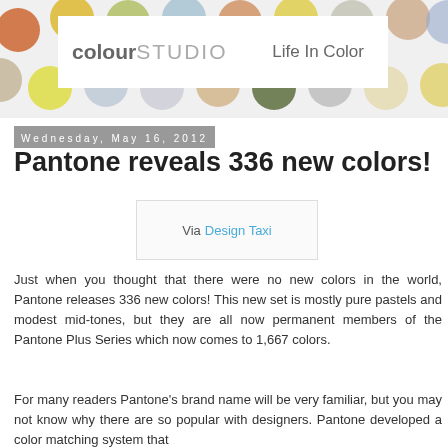[Figure (illustration): Colour Studio blog header with polka dot background pattern in various colors (orange, yellow, green, blue, brown, tan) and white overlay box containing the logo 'colourSTUDIO' on the left and 'Life In Color' tagline on the right]
Wednesday, May 16, 2012
Pantone reveals 336 new colors!
Via Design Taxi
Just when you thought that there were no new colors in the world, Pantone releases 336 new colors! This new set is mostly pure pastels and modest mid-tones, but they are all now permanent members of the Pantone Plus Series which now comes to 1,667 colors.
For many readers Pantone's brand name will be very familiar, but you may not know why there are so popular with designers. Pantone developed a color matching system that